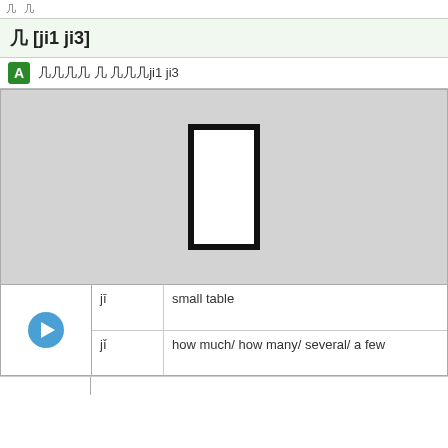几 [ji1 ji3]
A  几 ji1 ji3
[Figure (illustration): Gray box showing a simplified Chinese character stroke diagram with a tall white rectangle outline on a gray background]
| jī | small table |
| jǐ | how much/ how many/ several/ a few |